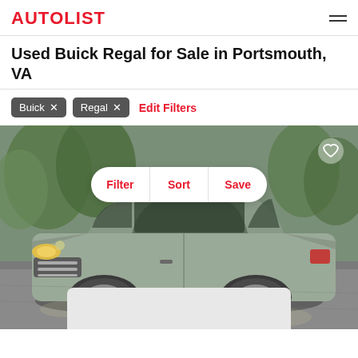AUTOLIST
Used Buick Regal for Sale in Portsmouth, VA
Buick ×
Regal ×
Edit Filters
[Figure (photo): Photo of a silver/grey Buick Regal sedan parked on a driveway with trees in background. Overlay shows Filter, Sort, Save action bar and a heart icon.]